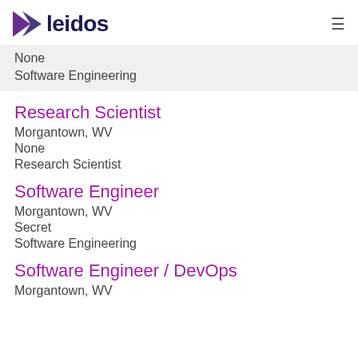[Figure (logo): Leidos company logo with purple arrow/triangle graphic and dark blue 'leidos' wordmark]
None
Software Engineering
Research Scientist
Morgantown, WV
None
Research Scientist
Software Engineer
Morgantown, WV
Secret
Software Engineering
Software Engineer / DevOps
Morgantown, WV